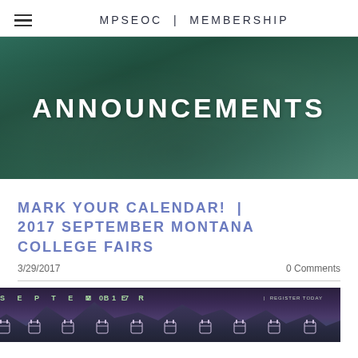MPSEOC | MEMBERSHIP
[Figure (photo): Green chalkboard banner background with white bold text reading ANNOUNCEMENTS]
MARK YOUR CALENDAR! | 2017 SEPTEMBER MONTANA COLLEGE FAIRS
3/29/2017    0 Comments
[Figure (photo): Preview image of September 2017 Montana College Fairs flyer with mountain silhouette background, green text showing SEPTEMBER 2017 | REGISTER TODAY]